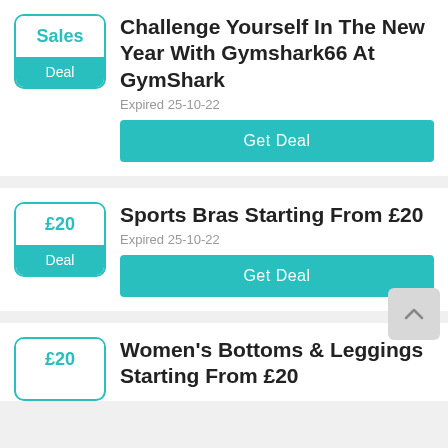[Figure (other): Deal badge with 'Sales' label in teal text and 'Deal' in white on teal background]
Challenge Yourself In The New Year With Gymshark66 At GymShark
Expired 25-10-22
Get Deal
[Figure (other): Deal badge with '£20' in teal text and 'Deal' in white on teal background]
Sports Bras Starting From £20
Expired 25-10-22
Get Deal
[Figure (other): Deal badge with '£20' in teal text, partial view]
Women's Bottoms & Leggings Starting From £20